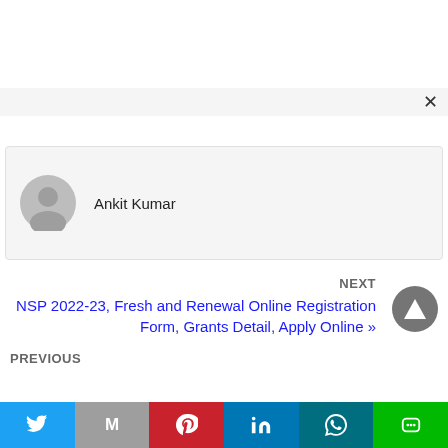[Figure (screenshot): Screenshot of a webpage showing author profile card, navigation links, and social sharing bar]
Ankit Kumar
NEXT
NSP 2022-23, Fresh and Renewal Online Registration Form, Grants Detail, Apply Online »
PREVIOUS